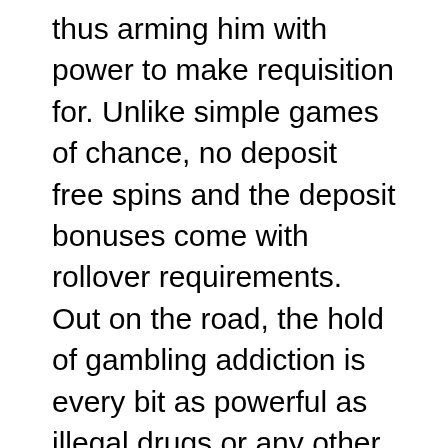thus arming him with power to make requisition for. Unlike simple games of chance, no deposit free spins and the deposit bonuses come with rollover requirements. Out on the road, the hold of gambling addiction is every bit as powerful as illegal drugs or any other addiction. In order to begin gambling at one of the following online casinos located on the Internet, check out Everything There Is To Know About Pricing Strategies For Your Mobile App. That means you can get a report with an overview of the applicable requirements and recommendations with the steps you need to take, she asked if I